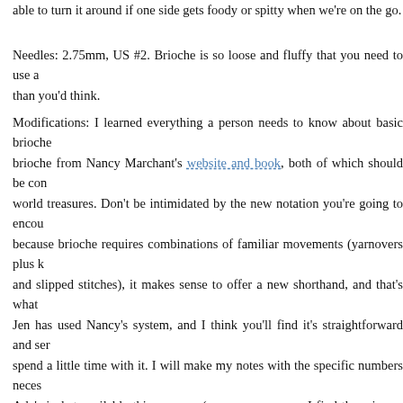able to turn it around if one side gets foody or spitty when we're on the go.
Needles: 2.75mm, US #2. Brioche is so loose and fluffy that you need to use a than you'd think.
Modifications: I learned everything a person needs to know about basic brioche brioche from Nancy Marchant's website and book, both of which should be con world treasures. Don't be intimidated by the new notation you're going to encou because brioche requires combinations of familiar movements (yarnovers plus k and slipped stitches), it makes sense to offer a new shorthand, and that's what Jen has used Nancy's system, and I think you'll find it's straightforward and ser spend a little time with it. I will make my notes with the specific numbers neces Ada's jacket available this summer (or, um, as soon as I find them in my sham woolery), but if you're itching to start now, all you really need is Jen's pattern a website. I cast on about 30% more stitches because I was using the lighter wo stabilizing the cast-on edge I'm happy with the result, but the Channel Islands brioche pattern are so stretchy that you could, instead, start with the numbers i then add an extra increase round in the yoke before you divide for the sleeves you a sweater with a snugger neckline than Ada's jacket has. Also, I added a n halfway down the body to achieve a swingy line. I thought this would be extra toddler and would work well with the single closure point I was planning, and I decision now that I see it on my babe. Especially since she came with lady tac pretense of any intuition about her sex while I was pregnant, but apparently my